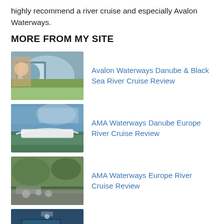highly recommend a river cruise and especially Avalon Waterways.
MORE FROM MY SITE
Avalon Waterways Danube & Black Sea River Cruise Review
AMA Waterways Danube Europe River Cruise Review
AMA Waterways Europe River Cruise Review
Europe River Cruise Port Reviews